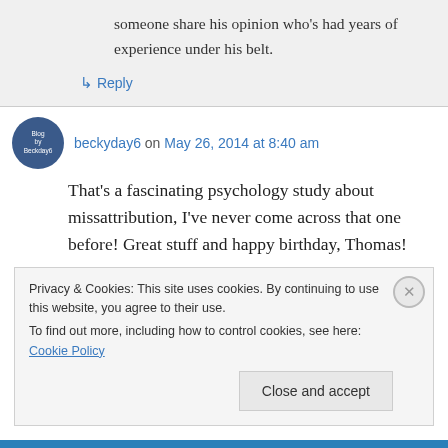someone share his opinion who's had years of experience under his belt.
↳ Reply
beckyday6 on May 26, 2014 at 8:40 am
That's a fascinating psychology study about missattribution, I've never come across that one before! Great stuff and happy birthday, Thomas!
Privacy & Cookies: This site uses cookies. By continuing to use this website, you agree to their use.
To find out more, including how to control cookies, see here: Cookie Policy
Close and accept